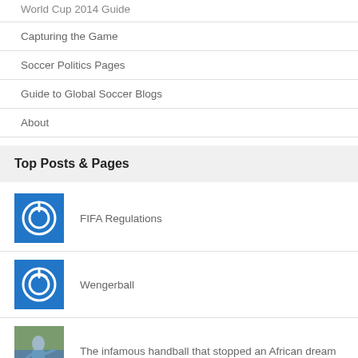World Cup 2014 Guide
Capturing the Game
Soccer Politics Pages
Guide to Global Soccer Blogs
About
Top Posts & Pages
FIFA Regulations
Wengerball
The infamous handball that stopped an African dream